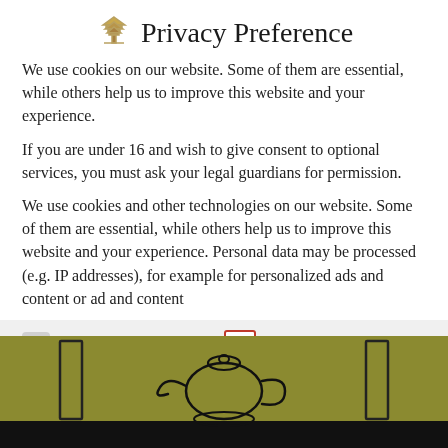Privacy Preference
We use cookies on our website. Some of them are essential, while others help us to improve this website and your experience.
If you are under 16 and wish to give consent to optional services, you must ask your legal guardians for permission.
We use cookies and other technologies on our website. Some of them are essential, while others help us to improve this website and your experience. Personal data may be processed (e.g. IP addresses), for example for personalized ads and content or ad and content
Essential   External Media
Accept all
[Figure (illustration): Bottom portion of a webpage showing a teapot logo illustration on an olive/gold background with decorative vertical bars on either side, partially obscured by black bars at bottom]